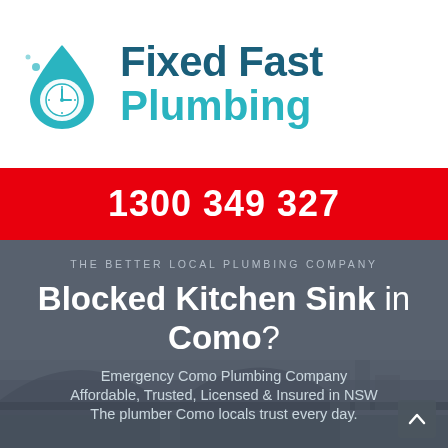[Figure (logo): Fixed Fast Plumbing logo with teal water drop icon containing a clock face]
1300 349 327
THE BETTER LOCAL PLUMBING COMPANY
Blocked Kitchen Sink in Como?
Emergency Como Plumbing Company
Affordable, Trusted, Licensed & Insured in NSW
The plumber Como locals trust every day.